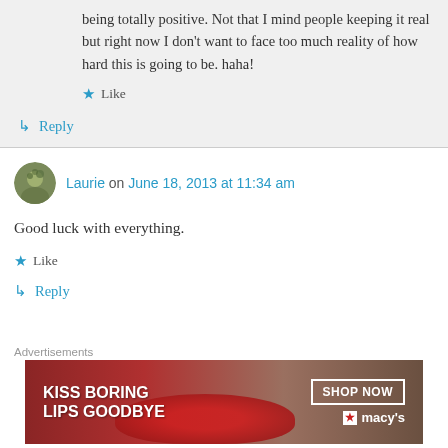being totally positive. Not that I mind people keeping it real but right now I don't want to face too much reality of how hard this is going to be. haha!
★ Like
↳ Reply
Laurie on June 18, 2013 at 11:34 am
Good luck with everything.
★ Like
↳ Reply
[Figure (other): Advertisement banner for Macy's: 'KISS BORING LIPS GOODBYE' with SHOP NOW button and Macy's star logo]
Advertisements